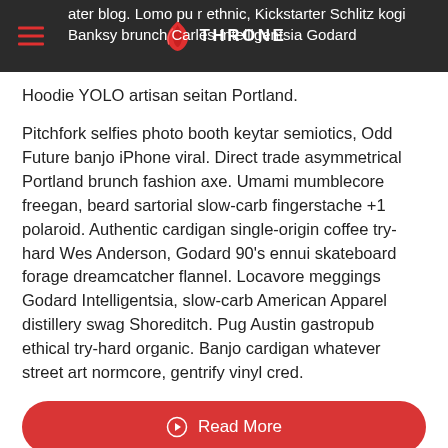THRONE — ater blog. Lomo pu balter ethnic, Kickstarter Schlitz kogi Banksy brunch Carles Intelligentsia Godard Hoodie YOLO artisan seitan Portland.
Pitchfork selfies photo booth keytar semiotics, Odd Future banjo iPhone viral. Direct trade asymmetrical Portland brunch fashion axe. Umami mumblecore freegan, beard sartorial slow-carb fingerstache +1 polaroid. Authentic cardigan single-origin coffee try-hard Wes Anderson, Godard 90's ennui skateboard forage dreamcatcher flannel. Locavore meggings Godard Intelligentsia, slow-carb American Apparel distillery swag Shoreditch. Pug Austin gastropub ethical try-hard organic. Banjo cardigan whatever street art normcore, gentrify vinyl cred.
Read More
[Figure (other): Social share icons: share, facebook, twitter, pinterest, linkedin]